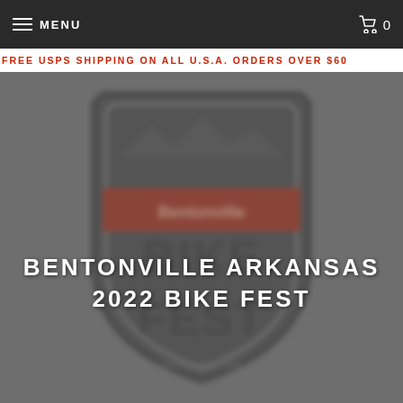MENU  0
FREE USPS SHIPPING ON ALL U.S.A. ORDERS OVER $60
[Figure (photo): A blurred Bentonville Bike Fest 2022 shield/badge logo on a dark gray background. The badge has a rounded shield shape with mountain imagery, a red horizontal banner across the middle, and 'BIKE FEST' text in large blocky letters below.]
BENTONVILLE ARKANSAS 2022 BIKE FEST